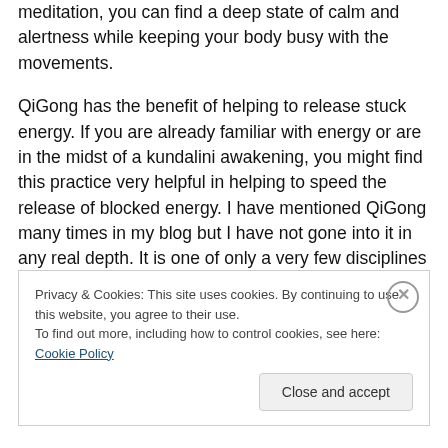meditation, you can find a deep state of calm and alertness while keeping your body busy with the movements.

QiGong has the benefit of helping to release stuck energy. If you are already familiar with energy or are in the midst of a kundalini awakening, you might find this practice very helpful in helping to speed the release of blocked energy. I have mentioned QiGong many times in my blog but I have not gone into it in any real depth. It is one of only a very few disciplines that I have practiced in my life. It helped release many blocks in my body, mind, and heart. It is the
Privacy & Cookies: This site uses cookies. By continuing to use this website, you agree to their use.
To find out more, including how to control cookies, see here: Cookie Policy
Close and accept